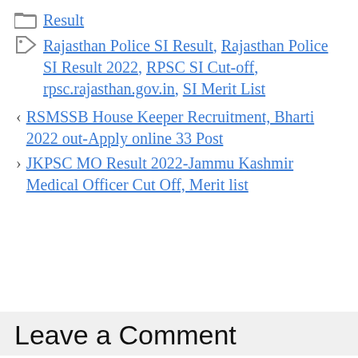Result
Rajasthan Police SI Result, Rajasthan Police SI Result 2022, RPSC SI Cut-off, rpsc.rajasthan.gov.in, SI Merit List
< RSMSSB House Keeper Recruitment, Bharti 2022 out-Apply online 33 Post
> JKPSC MO Result 2022-Jammu Kashmir Medical Officer Cut Off, Merit list
Leave a Comment